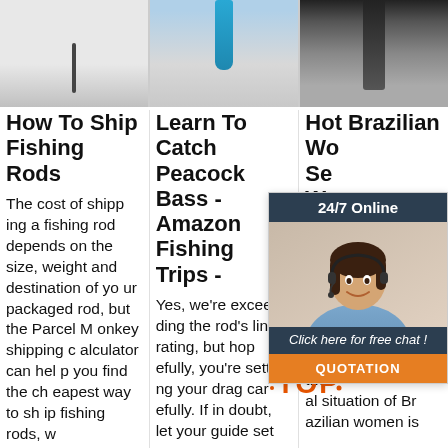[Figure (photo): Three images across the top: a close-up of a fishing rod tip/needle on white background, a blue cylindrical fishing rod handle/reel on light background, and a dark fishing rod on dark background.]
How To Ship Fishing Rods
The cost of shipping a fishing rod depends on the size, weight and destination of your packaged rod, but the Parcel Monkey shipping calculator can help you find the cheapest way to ship fishing rods, w
Learn To Catch Peacock Bass - Amazon Fishing Trips -
Yes, we're exceeding the rod's line rating, but hopefully, you're setting your drag carefully. If in doubt, let your guide set
Hot Brazilian Wo… Se… Wo… Th…
2 da… 2·u… far t… e po… y in Latin America, but it doesn't mean the financial situation of Brazilian women is
[Figure (photo): Advertisement overlay: dark header '24/7 Online', photo of smiling woman with headset, dark section 'Click here for free chat!', orange button 'QUOTATION']